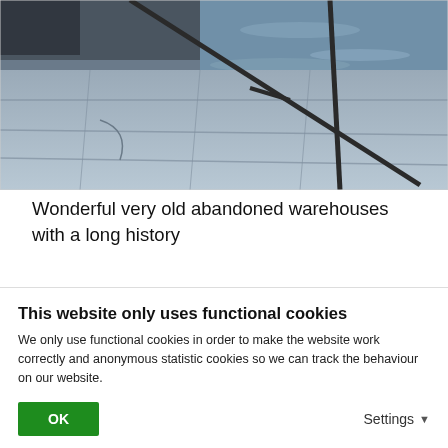[Figure (photo): Photo of old stone pavement/dock with metal railing/pole, water visible in background, bluish lighting]
Wonderful very old abandoned warehouses with a long history
Take a (cheap) ferry trip from the Cais do Sodré ferry
This website only uses functional cookies
We only use functional cookies in order to make the website work correctly and anonymous statistic cookies so we can track the behaviour on our website.
OK
Settings